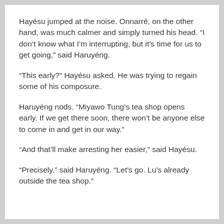Hayésu jumped at the noise. Onnarré, on the other hand, was much calmer and simply turned his head. “I don’t know what I’m interrupting, but it’s time for us to get going,” said Haruyéng.
“This early?” Hayésu asked. He was trying to regain some of his composure.
Haruyéng nods. “Miyawo Tung’s tea shop opens early. If we get there soon, there won’t be anyone else to come in and get in our way.”
“And that’ll make arresting her easier,” said Hayésu.
“Precisely,” said Haruyéng. “Let’s go. Lu’s already outside the tea shop.”